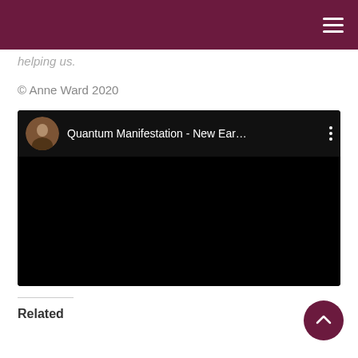helping us.
© Anne Ward 2020
[Figure (screenshot): Embedded YouTube-style video player with black background showing title 'Quantum Manifestation - New Ear...' with a circular avatar thumbnail of a woman and a three-dot menu icon.]
Related